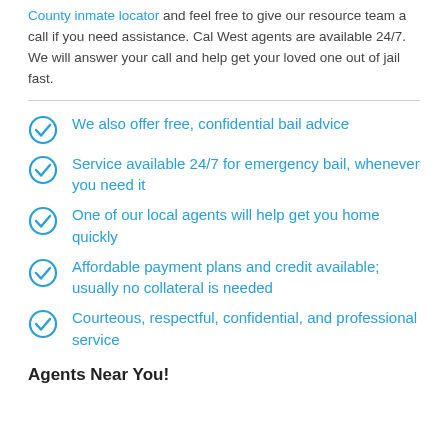County inmate locator and feel free to give our resource team a call if you need assistance. Cal West agents are available 24/7. We will answer your call and help get your loved one out of jail fast.
We also offer free, confidential bail advice
Service available 24/7 for emergency bail, whenever you need it
One of our local agents will help get you home quickly
Affordable payment plans and credit available; usually no collateral is needed
Courteous, respectful, confidential, and professional service
Agents Near You!